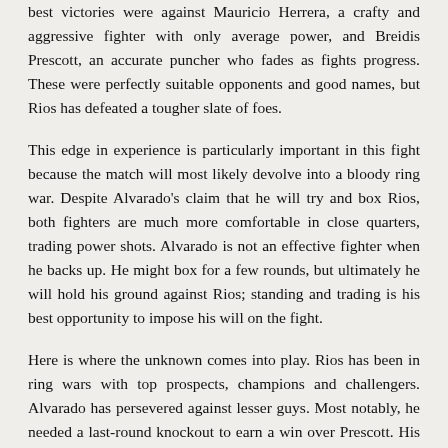best victories were against Mauricio Herrera, a crafty and aggressive fighter with only average power, and Breidis Prescott, an accurate puncher who fades as fights progress. These were perfectly suitable opponents and good names, but Rios has defeated a tougher slate of foes.
This edge in experience is particularly important in this fight because the match will most likely devolve into a bloody ring war. Despite Alvarado's claim that he will try and box Rios, both fighters are much more comfortable in close quarters, trading power shots. Alvarado is not an effective fighter when he backs up. He might box for a few rounds, but ultimately he will hold his ground against Rios; standing and trading is his best opportunity to impose his will on the fight.
Here is where the unknown comes into play. Rios has been in ring wars with top prospects, champions and challengers. Alvarado has persevered against lesser guys. Most notably, he needed a last-round knockout to earn a win over Prescott. His comeback against Prescott was impressive, but again, it's Breidis Prescott! For a fighter with designs on reaching the top of the junior welterweight division, Alvarado shouldn't be going life-and-death with a fighter like Breidis Prescott. Of course, Rios had his own struggles with Richard Abril; however, I attribute that performance to Rios' inability to fight at lightweight anymore. Perhaps I am being too